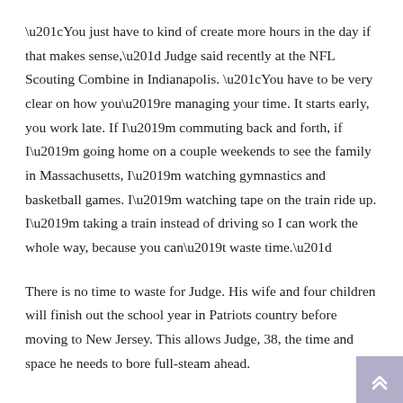“You just have to kind of create more hours in the day if that makes sense,” Judge said recently at the NFL Scouting Combine in Indianapolis. “You have to be very clear on how you’re managing your time. It starts early, you work late. If I’m commuting back and forth, if I’m going home on a couple weekends to see the family in Massachusetts, I’m watching gymnastics and basketball games. I’m watching tape on the train ride up. I’m taking a train instead of driving so I can work the whole way, because you can’t waste time.”
There is no time to waste for Judge. His wife and four children will finish out the school year in Patriots country before moving to New Jersey. This allows Judge, 38, the time and space he needs to bore full-steam ahead.